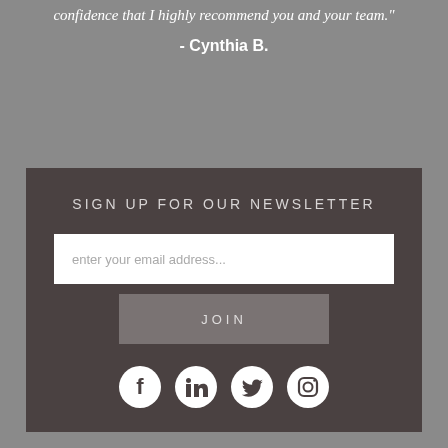confidence that I highly recommend you and your team."
- Cynthia B.
SIGN UP FOR OUR NEWSLETTER
enter your email address...
JOIN
[Figure (infographic): Social media icons: Facebook, LinkedIn, Twitter, Instagram]